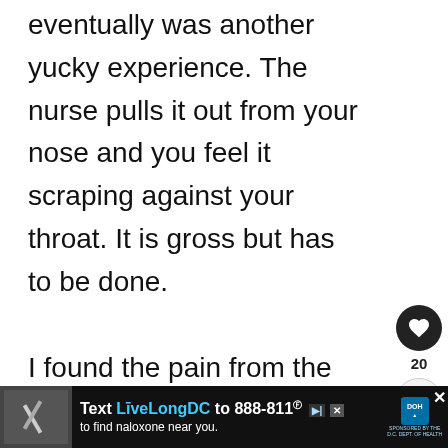eventually was another yucky experience. The nurse pulls it out from your nose and you feel it scraping against your throat. It is gross but has to be done.

I found the pain from the surgery very difficult. I literally felt like I'd been run over by a truck. It was much worse than my traumatic la...
[Figure (screenshot): Social media like button (heart icon) with count 20 and share button]
[Figure (screenshot): What's Next overlay showing Foods to Avoid After... with plant image]
[Figure (screenshot): Advertisement banner: Text LiveLongDC to 888-811 to find naloxone near you. DOH branding.]